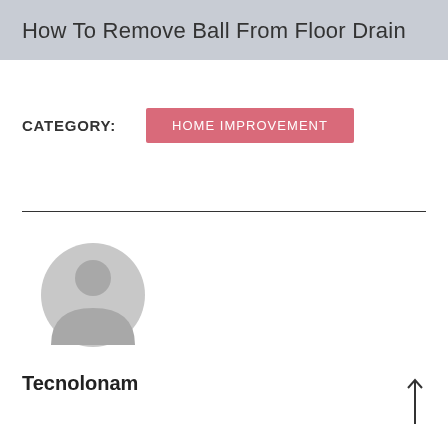How To Remove Ball From Floor Drain
CATEGORY: HOME IMPROVEMENT
[Figure (illustration): Generic user avatar icon — gray circle with user silhouette]
Tecnolonam